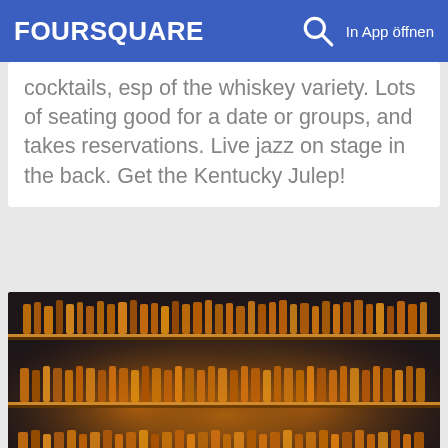FOURSQUARE  In App öffnen
cocktails, esp of the whiskey variety. Lots of seating good for a date or groups, and takes reservations. Live jazz on stage in the back. Get the Kentucky Julep!
[Figure (photo): Bar shelves illuminated by warm amber/orange backlighting, filled with numerous bottles of whiskey and spirits arranged on multiple shelves against a dark background.]
20. Maysville
17 W 26th St (at Broadway), New York City, NY